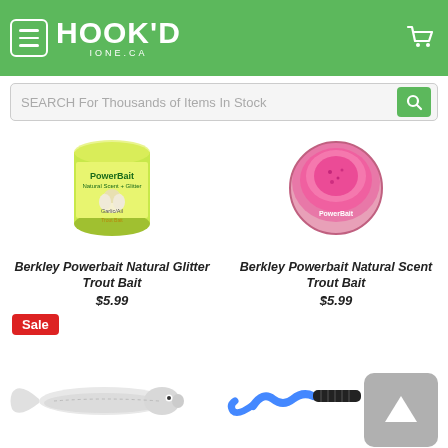HOOK'D IONE.CA
SEARCH For Thousands of Items In Stock
[Figure (photo): Berkley Powerbait Natural Glitter Trout Bait container - yellow/green label with garlic design]
Berkley Powerbait Natural Glitter Trout Bait
$5.99
[Figure (photo): Berkley Powerbait Natural Scent Trout Bait - pink/magenta jar viewed from above]
Berkley Powerbait Natural Scent Trout Bait
$5.99
Sale
[Figure (photo): Soft plastic white/silver paddle tail swimbait fishing lure]
[Figure (photo): Blue and black curly tail soft plastic fishing lure / worm]